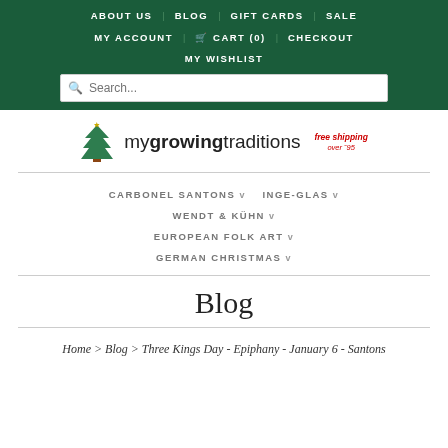ABOUT US | BLOG | GIFT CARDS | SALE | MY ACCOUNT | CART (0) | CHECKOUT | MY WISHLIST
[Figure (screenshot): Search bar with placeholder text 'Search...']
[Figure (logo): mygrowingtraditions logo with Christmas tree icon and 'free shipping over $95' text]
CARBONEL SANTONS v  INGE-GLAS v  WENDT & KÜHN v  EUROPEAN FOLK ART v  GERMAN CHRISTMAS v
Blog
Home > Blog > Three Kings Day - Epiphany - January 6 - Santons